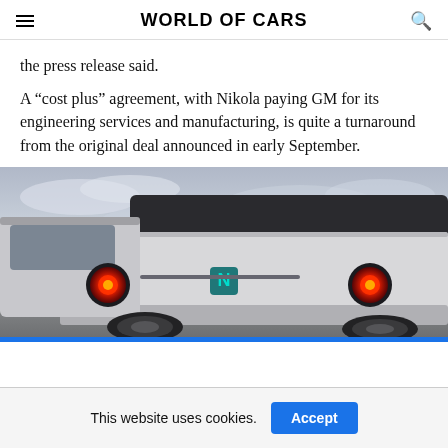WORLD OF CARS
the press release said.
A “cost plus” agreement, with Nikola paying GM for its engineering services and manufacturing, is quite a turnaround from the original deal announced in early September.
[Figure (photo): Rear view of a Nikola electric pickup truck with distinctive round taillights and Nikola logo, parked outdoors with a cloudy sky background.]
This website uses cookies.  Accept